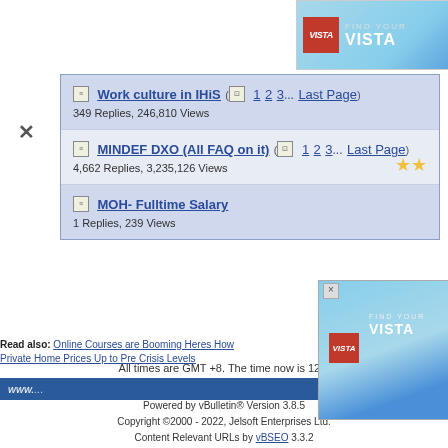[Figure (other): Vista Real Estate advertisement banner with beach background]
Work culture in IHiS (pages 1 2 3... Last Page) - 349 Replies, 246,810 Views
MINDEF DXO (All FAQ on it) (pages 1 2 3... Last Page) - 4,662 Replies, 3,235,126 Views
MOH- Fulltime Salary - 1 Replies, 239 Views
All times are GMT +8. The time now is 12...
www...
Read also: Online Courses are Booming Heres How... Private Home Prices Up to Pre Crisis Levels
Powered by vBulletin® Version 3.8.5 Copyright ©2000 - 2022, Jelsoft Enterprises Ltd. Content Relevant URLs by vBSEO 3.3.2